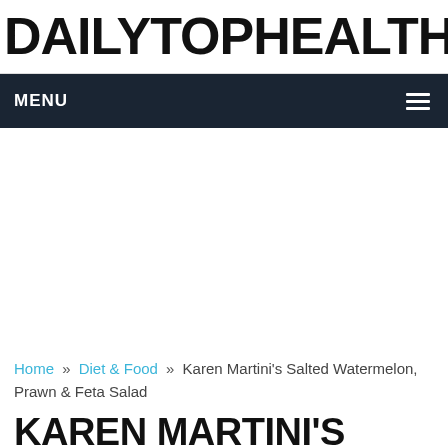DAILYTOPHEALTH.COM
MENU
[Figure (other): Advertisement / empty white space area]
Home » Diet & Food » Karen Martini's Salted Watermelon, Prawn & Feta Salad
KAREN MARTINI'S SALTED